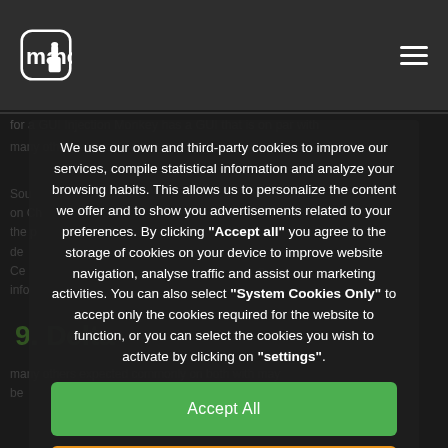mano [logo with hand icon]
for a GUI Injection Monkey has a GUI that is on par with many others expected commonly on both may be
9. Delta
many others expected commonly on both with may be
We use our own and third-party cookies to improve our services, compile statistical information and analyze your browsing habits. This allows us to personalize the content we offer and to show you advertisements related to your preferences. By clicking "Accept all" you agree to the storage of cookies on your device to improve website navigation, analyse traffic and assist our marketing activities. You can also select "System Cookies Only" to accept only the cookies required for the website to function, or you can select the cookies you wish to activate by clicking on "settings".
Accept All
Only sistem cookies
Configuration